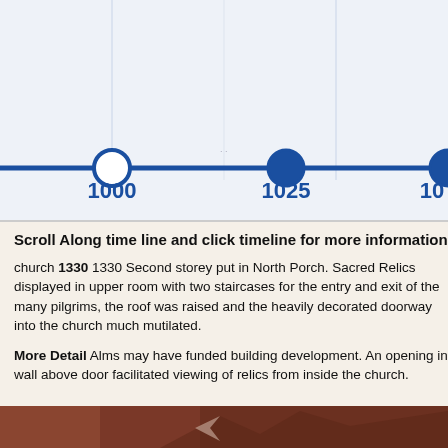[Figure (other): Horizontal timeline with blue line and circular markers. Visible points: 1000 (open circle), 1025 (filled circle), and a partial marker at far right. Light blue/white background with vertical grid lines.]
Scroll Along time line and click timeline for more information
church 1330 1330 Second storey put in North Porch. Sacred Relics displayed in upper room with two staircases for the entry and exit of the many pilgrims, the roof was raised and the heavily decorated doorway into the church much mutilated.
More Detail Alms may have funded building development. An opening in wall above door facilitated viewing of relics from inside the church.
[Figure (photo): Partial view of a photographic strip at bottom of page showing a reddish-brown image, partially cut off.]